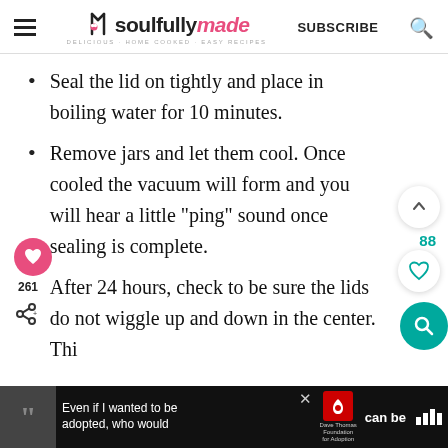soulfully made — SUBSCRIBE
Seal the lid on tightly and place in boiling water for 10 minutes.
Remove jars and let them cool. Once cooled the vacuum will form and you will hear a little "ping" sound once sealing is complete.
After 24 hours, check to be sure the lids do not wiggle up and down in the center. Thi...
[Figure (screenshot): Advertisement banner at bottom: dark background with woman photo, quote text 'Even if I wanted to be adopted, who would', Dave Thomas Foundation for Adoption logo, and partial text 'can be']